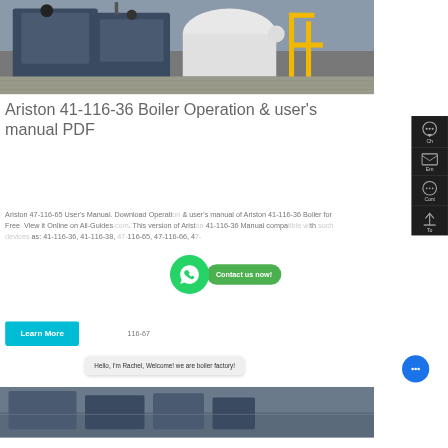[Figure (photo): Industrial boiler room with large blue boilers, yellow gas pipes, and mechanical equipment on a concrete floor]
Ariston 41-116-36 Boiler Operation & user's manual PDF
Ariston 47-116-65 User's Manual. Download Operation & user's manual of Ariston 41-116-36 Boiler for Free. View it Online on All-Guides.com. This version of Ariston 41-116-36 Manual compatible with such devices as: 41-116-36, 41-116-38, 47-116-65, 47-116-66, 47-116-67
[Figure (screenshot): WhatsApp contact button with green bubble and 'Contact us now!' label]
Hello, I'm Rachel, Welcome! we are boiler factory!
[Figure (photo): Bottom portion of industrial boiler equipment]